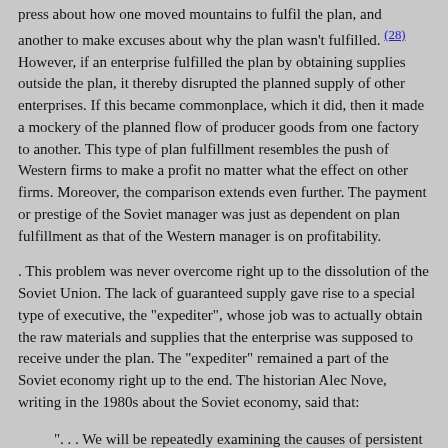press about how one moved mountains to fulfil the plan, and another to make excuses about why the plan wasn't fulfilled. (28) However, if an enterprise fulfilled the plan by obtaining supplies outside the plan, it thereby disrupted the planned supply of other enterprises. If this became commonplace, which it did, then it made a mockery of the planned flow of producer goods from one factory to another. This type of plan fulfillment resembles the push of Western firms to make a profit no matter what the effect on other firms. Moreover, the comparison extends even further. The payment or prestige of the Soviet manager was just as dependent on plan fulfillment as that of the Western manager is on profitability.
. This problem was never overcome right up to the dissolution of the Soviet Union. The lack of guaranteed supply gave rise to a special type of executive, the "expediter", whose job was to actually obtain the raw materials and supplies that the enterprise was supposed to receive under the plan. The "expediter" remained a part of the Soviet economy right up to the end. The historian Alec Nove, writing in the 1980s about the Soviet economy, said that:
". . . We will be repeatedly examining the causes of persistent supply shortages in subsequent chapters. Their existence gives rise to the phenomenon of the tolkach, the 'pusher,' expediter, unofficial supply agent, who nags, begs, borrows, bribes, to ensure that